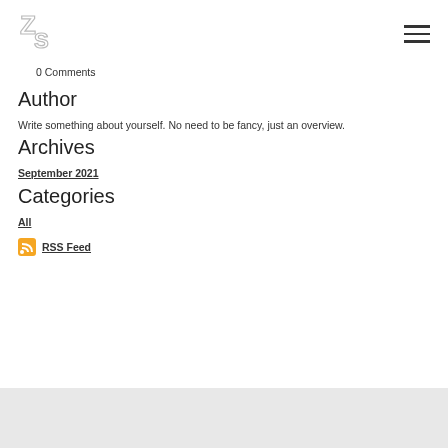[Figure (logo): ZS logo monogram in outline style, top left]
0 Comments
Author
Write something about yourself. No need to be fancy, just an overview.
Archives
September 2021
Categories
All
RSS Feed